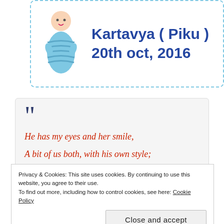[Figure (illustration): Baby announcement card with a swaddled baby illustration on the left, and text 'Kartavya (Piku) 20th oct, 2016' in bold blue on the right, inside a dashed light blue border.]
He has my eyes and her smile,
A bit of us both, with his own style;
My cutie, my love, my childhood and fun,
Privacy & Cookies: This site uses cookies. By continuing to use this website, you agree to their use.
To find out more, including how to control cookies, see here: Cookie Policy
Close and accept